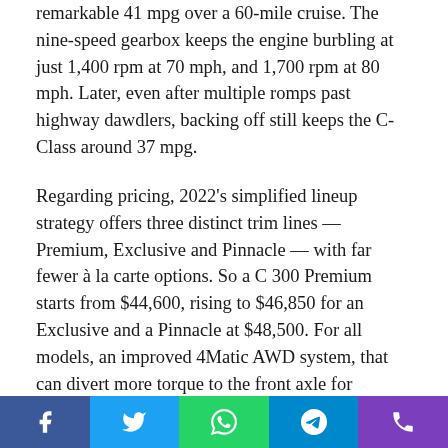remarkable 41 mpg over a 60-mile cruise. The nine-speed gearbox keeps the engine burbling at just 1,400 rpm at 70 mph, and 1,700 rpm at 80 mph. Later, even after multiple romps past highway dawdlers, backing off still keeps the C-Class around 37 mpg.
Regarding pricing, 2022's simplified lineup strategy offers three distinct trim lines — Premium, Exclusive and Pinnacle — with far fewer à la carte options. So a C 300 Premium starts from $44,600, rising to $46,850 for an Exclusive and a Pinnacle at $48,500. For all models, an improved 4Matic AWD system, that can divert more torque to the front axle for improved dynamics, adds $2,000.
The C 300 Pinnacle test car reached $57,970, with add-ons
Social share buttons: Facebook, Twitter, WhatsApp, Telegram, Phone